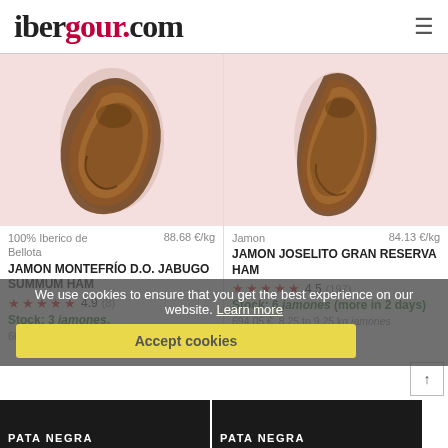ibergour.com
[Figure (photo): Ham (jamón) product photo on pink background - left product]
100% Iberico de Bellota   88.68 €/kg
JAMON MONTEFRÍO D.O. JABUGO SUMMUM HAM
4.9 (8)
Stock: 3 jamones.
669.12 €  7.5 to 8 kg jamones
[Figure (photo): Ham (jamón) product photo on pink background - right product]
Jamon   84.13 €/kg
JAMON JOSELITO GRAN RESERVA HAM
4.5 (197)
Stock: 6 jamones (more in 2 days)
694.05 €  8.25 to 9.25 kg jamones
We use cookies to ensure that you get the best experience on our website. Learn more
Accept cookies
PATA NEGRA
PATA NEGRA